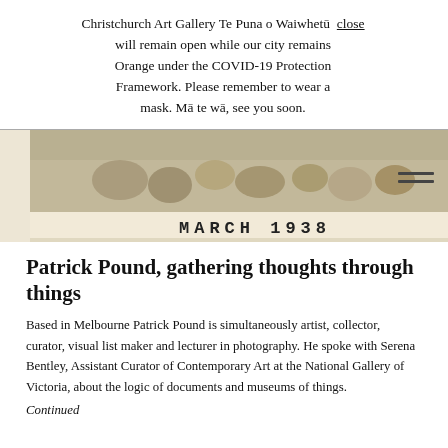Christchurch Art Gallery Te Puna o Waiwhetū will remain open while our city remains Orange under the COVID-19 Protection Framework. Please remember to wear a mask. Mā te wā, see you soon. close
[Figure (photo): Black and white photograph showing cylindrical objects (pots or containers) viewed from above, with a white border label at the bottom reading 'MARCH 1938' in bold block letters. A hamburger menu icon (two horizontal lines) appears at the right.]
Patrick Pound, gathering thoughts through things
Based in Melbourne Patrick Pound is simultaneously artist, collector, curator, visual list maker and lecturer in photography. He spoke with Serena Bentley, Assistant Curator of Contemporary Art at the National Gallery of Victoria, about the logic of documents and museums of things.
Continued